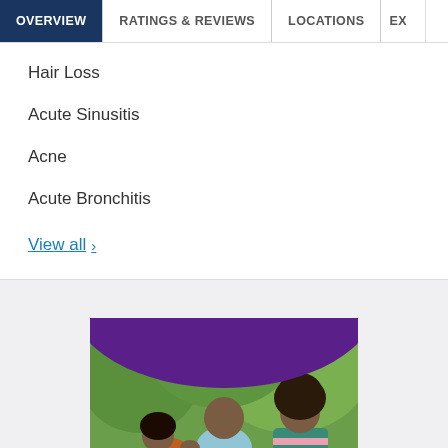OVERVIEW | RATINGS & REVIEWS | LOCATIONS | EX
Hair Loss
Acute Sinusitis
Acne
Acute Bronchitis
View all >
[Figure (photo): Family photo with purple arc overlay showing a man, woman, and child smiling outdoors with green trees in background]